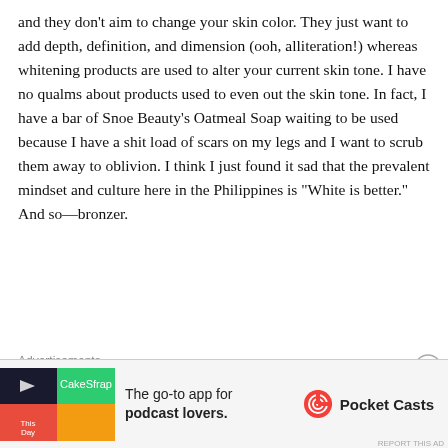and they don't aim to change your skin color. They just want to add depth, definition, and dimension (ooh, alliteration!) whereas whitening products are used to alter your current skin tone. I have no qualms about products used to even out the skin tone. In fact, I have a bar of Snoe Beauty's Oatmeal Soap waiting to be used because I have a shit load of scars on my legs and I want to scrub them away to oblivion. I think I just found it sad that the prevalent mindset and culture here in the Philippines is “White is better.” And so—bronzer.
My final word: Bronzer rocks.
Advertisements
[Figure (other): Advertisement banner for Pocket Casts app: logo on left with colorful quadrant design, text 'The go-to app for podcast lovers.' and Pocket Casts logo on right]